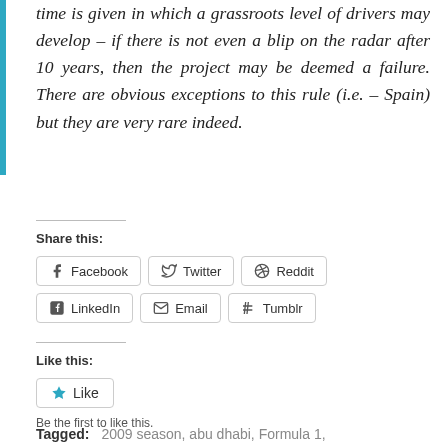time is given in which a grassroots level of drivers may develop – if there is not even a blip on the radar after 10 years, then the project may be deemed a failure. There are obvious exceptions to this rule (i.e. – Spain) but they are very rare indeed.
Share this:
Facebook  Twitter  Reddit  LinkedIn  Email  Tumblr
Like this:
Like
Be the first to like this.
Tagged: 2009 season, abu dhabi, Formula 1,